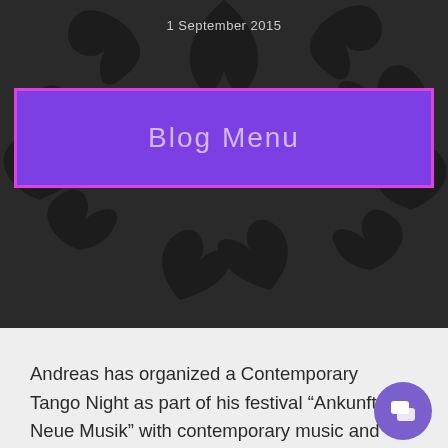1 September 2015
Blog Menu
Andreas has organized a Contemporary Tango Night as part of his festival “Ankunft: Neue Musik” with contemporary music and performace in the Hauptbahnhof, Berlin’s central train station, for the last 7 years, in collaboration with the Deutsche Bahn, Germany’s train company. For 2016 this fest has a new structure and is completely